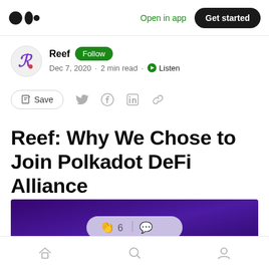Medium logo | Open in app | Get started
Reef · Follow · Dec 7, 2020 · 2 min read · Listen
Save (share toolbar with Twitter, Facebook, LinkedIn, link icons)
Reef: Why We Chose to Join Polkadot DeFi Alliance
[Figure (screenshot): Purple gradient article header image with a clap/reaction bubble showing 6 claps and a comment icon]
Bottom navigation bar with Home, Search, and Profile icons